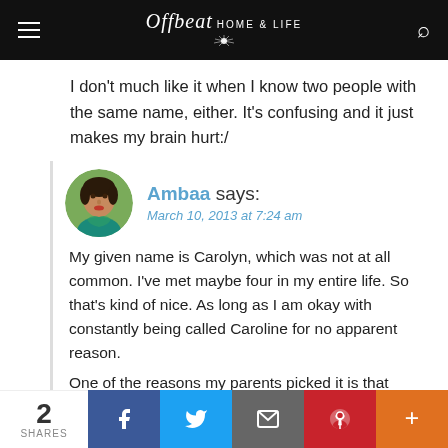Offbeat HOME & LIFE
I don't much like it when I know two people with the same name, either. It's confusing and it just makes my brain hurt:/
Ambaa says:
March 10, 2013 at 7:24 am
My given name is Carolyn, which was not at all common. I've met maybe four in my entire life. So that's kind of nice. As long as I am okay with constantly being called Caroline for no apparent reason.
One of the reasons my parents picked it is that
2 SHARES | Facebook | Twitter | Email | Pinterest | More